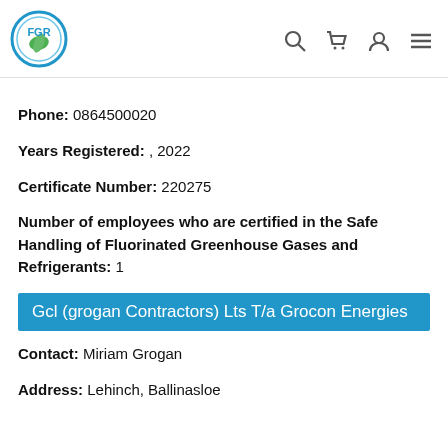[Figure (logo): FGR logo: circular emblem with blue ring, green leaf, and text FGR inside]
Phone: 0864500020
Years Registered: , 2022
Certificate Number: 220275
Number of employees who are certified in the Safe Handling of Fluorinated Greenhouse Gases and Refrigerants: 1
Gcl (grogan Contractors) Lts T/a Grocon Energies
Contact: Miriam Grogan
Address: Lehinch, Ballinasloe